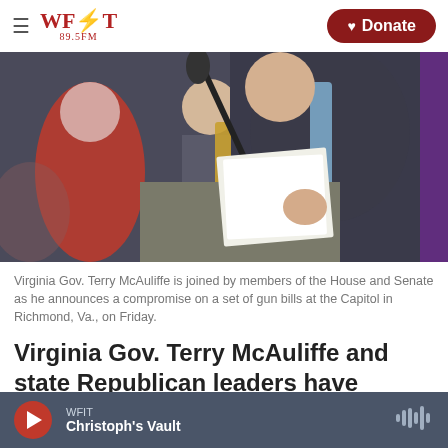WFIT 89.5FM | Donate
[Figure (photo): Virginia Gov. Terry McAuliffe stands at a podium with a microphone, holding papers, flanked by members of the House and Senate at the Capitol in Richmond, Va.]
Virginia Gov. Terry McAuliffe is joined by members of the House and Senate as he announces a compromise on a set of gun bills at the Capitol in Richmond, Va., on Friday.
Virginia Gov. Terry McAuliffe and state Republican leaders have announced a rare bipartisan
WFIT | Christoph's Vault